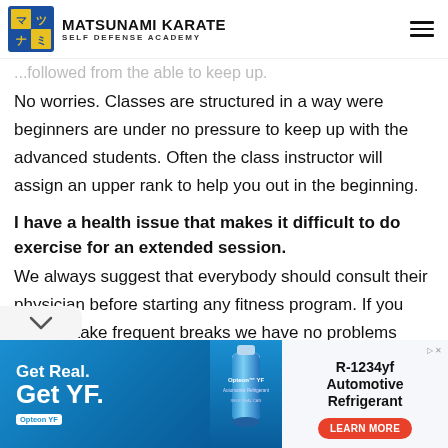MATSUNAMI KARATE SELF DEFENSE ACADEMY
...followed from the able to keep up.
No worries. Classes are structured in a way were beginners are under no pressure to keep up with the advanced students. Often the class instructor will assign an upper rank to help you out in the beginning.
I have a health issue that makes it difficult to do exercise for an extended session.
We always suggest that everybody should consult their physician before starting any fitness program. If you need to take frequent breaks we have no problems letting you do so during class.
[Figure (screenshot): Advertisement banner for Opteon YF R-1234yf Automotive Refrigerant with blue background, bottle image, and Learn More button]